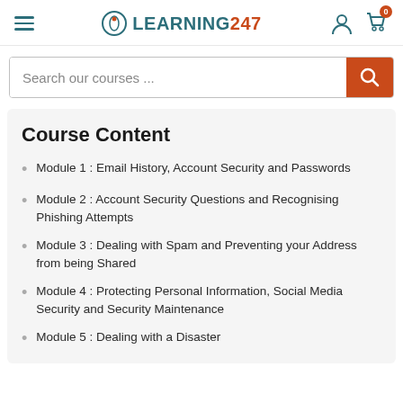LEARNING247 navigation header
Search our courses ...
Course Content
Module 1 : Email History, Account Security and Passwords
Module 2 : Account Security Questions and Recognising Phishing Attempts
Module 3 : Dealing with Spam and Preventing your Address from being Shared
Module 4 : Protecting Personal Information, Social Media Security and Security Maintenance
Module 5 : Dealing with a Disaster